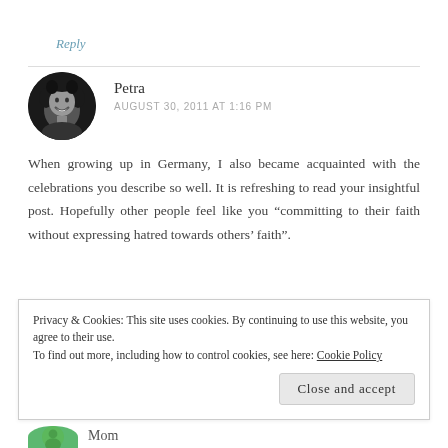Reply
[Figure (photo): Circular avatar photo of Petra, a woman with curly hair, smiling, black and white photo]
Petra
AUGUST 30, 2011 AT 1:16 PM
When growing up in Germany, I also became acquainted with the celebrations you describe so well. It is refreshing to read your insightful post. Hopefully other people feel like you “committing to their faith without expressing hatred towards others’ faith”.
Privacy & Cookies: This site uses cookies. By continuing to use this website, you agree to their use.
To find out more, including how to control cookies, see here: Cookie Policy
Close and accept
Mom